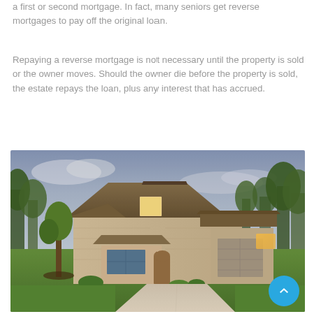a first or second mortgage. In fact, many seniors get reverse mortgages to pay off the original loan.
Repaying a reverse mortgage is not necessary until the property is sold or the owner moves. Should the owner die before the property is sold, the estate repays the loan, plus any interest that has accrued.
[Figure (photo): Photograph of a large stone craftsman-style house with a steep gabled roof, lit garage, manicured lawn, driveway, and trees in the background at dusk.]